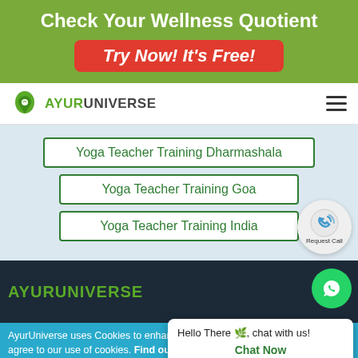Check Your Wellness Quotient
Try Now! It's Free!
[Figure (logo): AyurUniverse logo with green leaf map pin icon and text AYURUNIVERSE]
Yoga Teacher Training Dharmashala
Yoga Teacher Training Goa
Yoga Teacher Training India
[Figure (other): Request Call button with phone icon]
[Figure (other): WhatsApp green circle icon]
Hello There 🌿, chat with us!
Chat Now
AYURUNIVERSE
AyurUniverse uses Cookies to enhance your experience. By continuing, you agree to our use of cookies. Find out more
Accept & Close
AyurUniverse is your one-stop-shop for all your wellness needs access to a selection of hand-picked wellness centers from across the country, offering a range